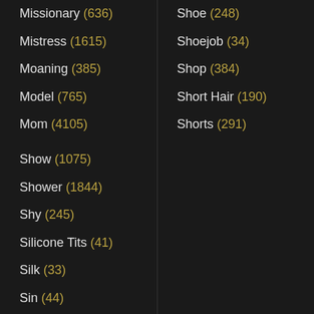Missionary (636)
Mistress (1615)
Moaning (385)
Model (765)
Mom (4105)
Show (1075)
Shower (1844)
Shy (245)
Silicone Tits (41)
Silk (33)
Sin (44)
Sissy (664)
Skank (94)
Skinny (2861)
Skirt (2106)
Slapping (186)
Shoe (248)
Shoejob (34)
Shop (384)
Short Hair (190)
Shorts (291)